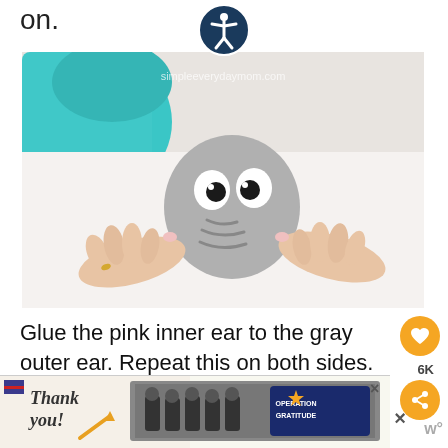on.
[Figure (photo): A person's hands pressing down on a gray elephant face craft with googly eyes and curved trunk lines, on a white surface with a teal fabric in the background. Watermark reads simpleeverydaymom.com]
Glue the pink inner ear to the gray outer ear. Repeat this on both sides. Add a little glue to the inside of both ears and glue the ears to th...
[Figure (photo): Advertisement banner: Thank you with Operation Gratitude firefighter photo]